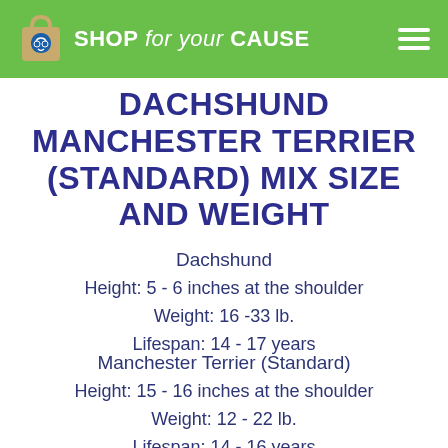SHOP for your CAUSE
DACHSHUND MANCHESTER TERRIER (STANDARD) MIX SIZE AND WEIGHT
Dachshund
Height: 5 - 6 inches at the shoulder
Weight: 16 -33 lb.
Lifespan: 14 - 17 years
Manchester Terrier (Standard)
Height: 15 - 16 inches at the shoulder
Weight: 12 - 22 lb.
Lifespan: 14 - 16 years